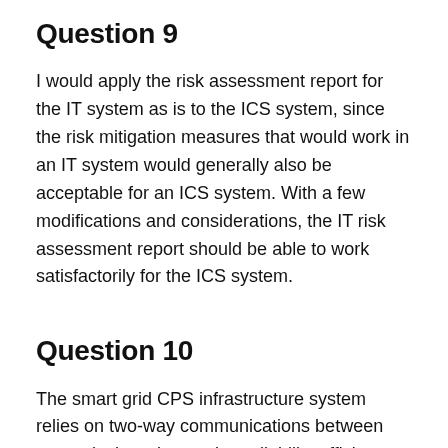Question 9
I would apply the risk assessment report for the IT system as is to the ICS system, since the risk mitigation measures that would work in an IT system would generally also be acceptable for an ICS system. With a few modifications and considerations, the IT risk assessment report should be able to work satisfactorily for the ICS system.
Question 10
The smart grid CPS infrastructure system relies on two-way communications between smart devices, increasing reliability efficiency and affordability. Since end-to-end encryption is easy to implement in this system, security threats are minimal, and strategies